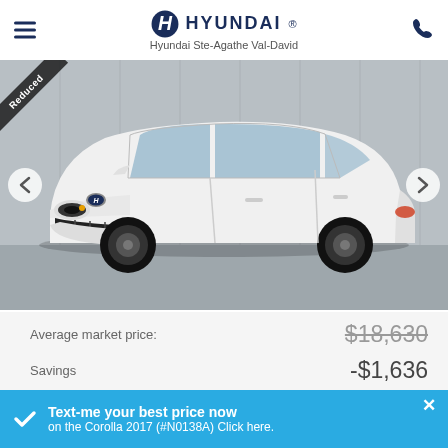Hyundai Ste-Agathe Val-David
[Figure (photo): White Toyota Corolla 2017 sedan photographed in a dealership-style indoor setting with grey walls. A 'Reduced Price' ribbon is visible in the top-left corner. Navigation arrows appear on the left and right sides of the image.]
Average market price: $18,630 (strikethrough)
Savings -$1,636
Your price: $16,994*
Text-me your best price now on the Corolla 2017 (#N0138A) Click here.